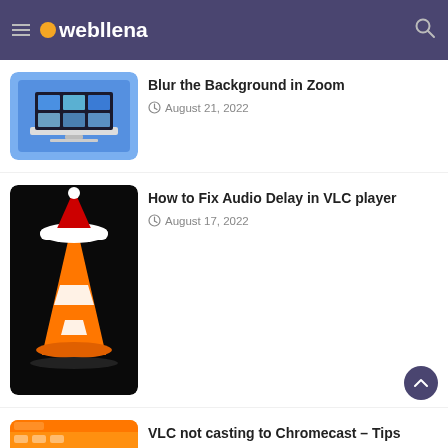webllena
Blur the Background in Zoom
August 21, 2022
[Figure (screenshot): Laptop showing Zoom video call with multiple participants on a blue background]
How to Fix Audio Delay in VLC player
August 17, 2022
[Figure (illustration): VLC media player traffic cone wearing a Santa hat on black background]
VLC not casting to Chromecast – Tips
July 2, 2022
[Figure (screenshot): VLC app interface showing video thumbnails on orange background]
Advertisement